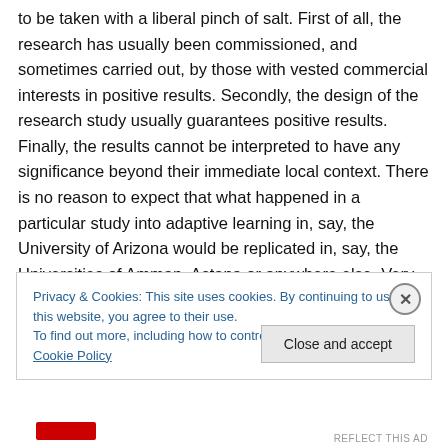to be taken with a liberal pinch of salt. First of all, the research has usually been commissioned, and sometimes carried out, by those with vested commercial interests in positive results. Secondly, the design of the research study usually guarantees positive results. Finally, the results cannot be interpreted to have any significance beyond their immediate local context. There is no reason to expect that what happened in a particular study into adaptive learning in, say, the University of Arizona would be replicated in, say, the Universities of Amman, Astana or anywhere else. Very often, when this research is reported,
Privacy & Cookies: This site uses cookies. By continuing to use this website, you agree to their use.
To find out more, including how to control cookies, see here: Cookie Policy